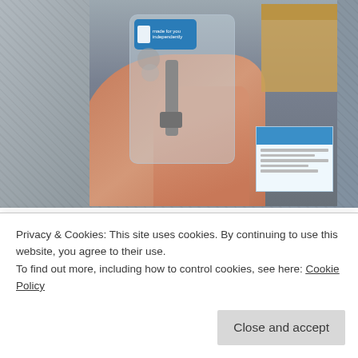[Figure (photo): A hand holding a small packaged item (a USB connector or small hardware part) in a clear plastic package with a blue label. Behind it is a cardboard box and a blue-and-white paper document on a textured surface.]
About a month and a half ago a Remington Noiseless arrived at my place in a pretty awful state. While the typebars moved nicely, the spacebar was frozen. The drive band was cut in half (yes, cut – not snapped) and a key was missing. Worse, the
Privacy & Cookies: This site uses cookies. By continuing to use this website, you agree to their use.
To find out more, including how to control cookies, see here: Cookie Policy
Close and accept